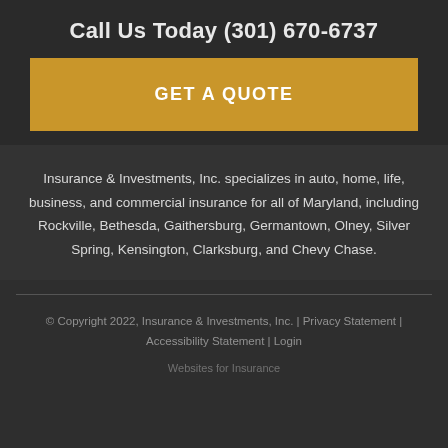Call Us Today (301) 670-6737
GET A QUOTE
Insurance & Investments, Inc. specializes in auto, home, life, business, and commercial insurance for all of Maryland, including Rockville, Bethesda, Gaithersburg, Germantown, Olney, Silver Spring, Kensington, Clarksburg, and Chevy Chase.
© Copyright 2022, Insurance & Investments, Inc. | Privacy Statement | Accessibility Statement | Login
Websites for Insurance